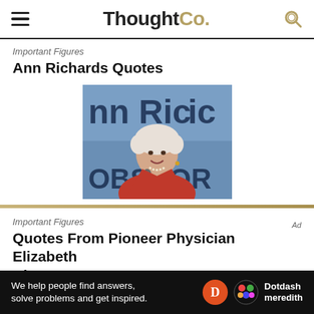ThoughtCo.
Important Figures
Ann Richards Quotes
[Figure (photo): Photo of Ann Richards speaking at a podium, with a banner reading 'Ann Richards' and 'OBSROR' visible in the background. She is wearing a red jacket and has white hair.]
Important Figures
Quotes From Pioneer Physician Elizabeth Bl...
Ad
We help people find answers, solve problems and get inspired.
Dotdash meredith